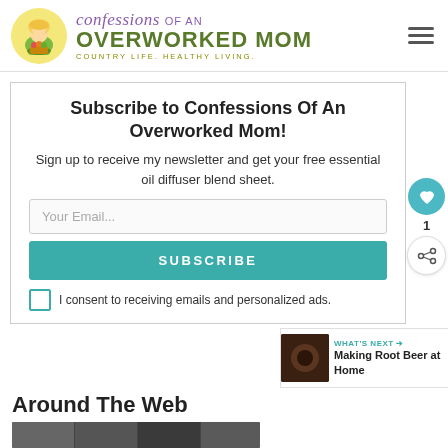[Figure (logo): Confessions of an Overworked Mom logo with cartoon woman and text]
Subscribe to Confessions Of An Overworked Mom!
Sign up to receive my newsletter and get your free essential oil diffuser blend sheet.
Your Email...
SUBSCRIBE
I consent to receiving emails and personalized ads.
WHAT'S NEXT → Making Root Beer at Home
Around The Web
[Figure (photo): Around The Web thumbnail image strip]